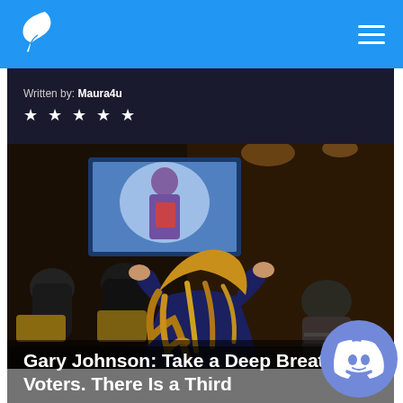Navigation bar with logo and hamburger menu
Written by: Maura4u
★ ★ ★ ★ ★
[Figure (photo): People sitting in a bar/lounge watching a TV screen showing a political debate. A woman in the foreground has her hands on her head in an exasperated or frustrated gesture, with long disheveled hair. The scene is dark with warm ambient lighting.]
Gary Johnson: Take a Deep Breath, Voters. There Is a Third